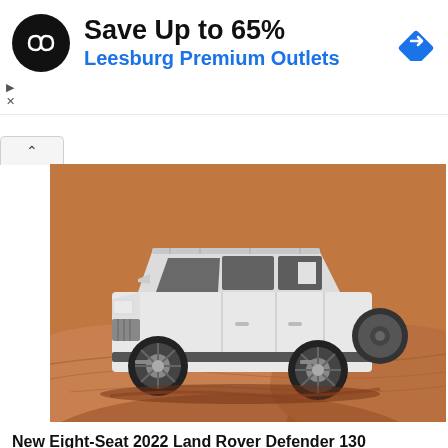[Figure (infographic): Advertisement banner: black circular logo with infinity-like symbol, bold text 'Save Up to 65%', blue text 'Leesburg Premium Outlets', blue diamond navigation icon on right]
[Figure (photo): White Land Rover Defender 130 SUV driving on orange/red sand dunes, side profile view, large spare tire mounted on rear]
New Eight-Seat 2022 Land Rover Defender 130 Revealed
May 31, 2022